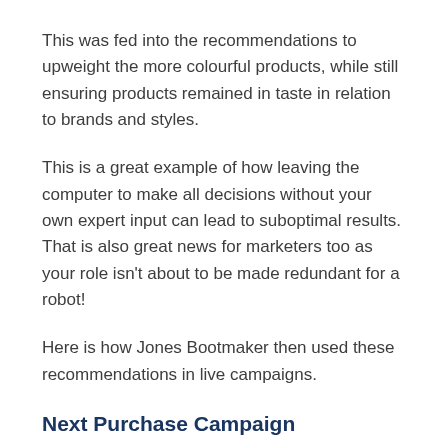This was fed into the recommendations to upweight the more colourful products, while still ensuring products remained in taste in relation to brands and styles.
This is a great example of how leaving the computer to make all decisions without your own expert input can lead to suboptimal results. That is also great news for marketers too as your role isn't about to be made redundant for a robot!
Here is how Jones Bootmaker then used these recommendations in live campaigns.
Next Purchase Campaign
The next priority was to start converting the in-store shoppers to shopping online and a triggered